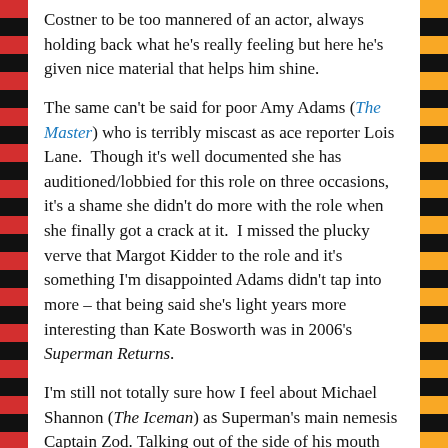Costner to be too mannered of an actor, always holding back what he's really feeling but here he's given nice material that helps him shine.
The same can't be said for poor Amy Adams (The Master) who is terribly miscast as ace reporter Lois Lane. Though it's well documented she has auditioned/lobbied for this role on three occasions, it's a shame she didn't do more with the role when she finally got a crack at it. I missed the plucky verve that Margot Kidder to the role and it's something I'm disappointed Adams didn't tap into more – that being said she's light years more interesting than Kate Bosworth was in 2006's Superman Returns.
I'm still not totally sure how I feel about Michael Shannon (The Iceman) as Superman's main nemesis Captain Zod. Talking out of the side of his mouth and sounding like he has a Lifesaver he wants to keep under his tongue, Shannon is an unlikely choice for the role and even wearing a costume that looks like a hand me down from KISS he manages to give the character more depth than was probably necessary. Russell